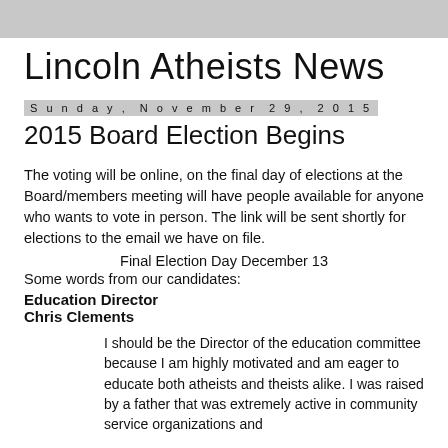Lincoln Atheists News
Sunday, November 29, 2015
2015 Board Election Begins
The voting will be online, on the final day of elections at the Board/members meeting will have people available for anyone who wants to vote in person. The link will be sent shortly for elections to the email we have on file.
    Final Election Day December 13
Some words from our candidates:
Education Director
Chris Clements
I should be the Director of the education committee because I am highly motivated and am eager to educate both atheists and theists alike. I was raised by a father that was extremely active in community service organizations and